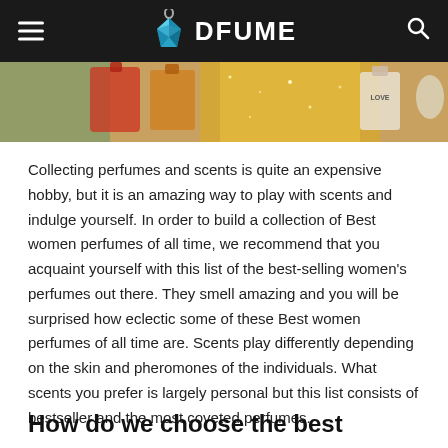DFUME
[Figure (photo): Banner image showing various perfume bottles and colorful scents arranged together, with a 'LOVE' labeled bottle visible on the right side.]
Collecting perfumes and scents is quite an expensive hobby, but it is an amazing way to play with scents and indulge yourself. In order to build a collection of Best women perfumes of all time, we recommend that you acquaint yourself with this list of the best-selling women's perfumes out there. They smell amazing and you will be surprised how eclectic some of these Best women perfumes of all time are. Scents play differently depending on the skin and pheromones of the individuals. What scents you prefer is largely personal but this list consists of bestseller and the most coveted perfumes.
How do we choose the best women